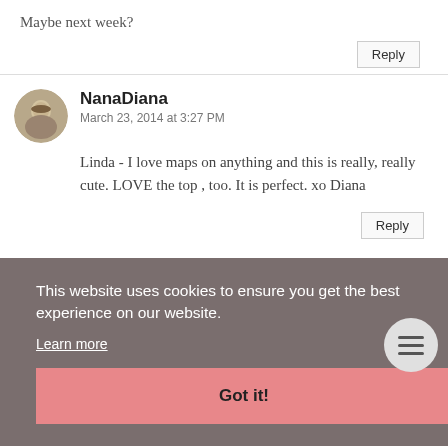Maybe next week?
Reply
NanaDiana
March 23, 2014 at 3:27 PM
Linda - I love maps on anything and this is really, really cute. LOVE the top , too. It is perfect. xo Diana
Reply
This website uses cookies to ensure you get the best experience on our website.
Learn more
Got it!
Reply